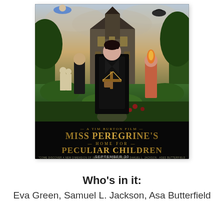[Figure (photo): Movie poster for Miss Peregrine's Home for Peculiar Children, a Tim Burton film. Shows Eva Green as Miss Peregrine in center wearing black, surrounded by peculiar children, a gothic mansion in background. Gold ornate title text reads 'A TIM BURTON FILM / MISS PEREGRINE'S / HOME FOR / PECULIAR CHILDREN'. Release date shown as SEPTEMBER 30.]
Who's in it:
Eva Green, Samuel L. Jackson, Asa Butterfield